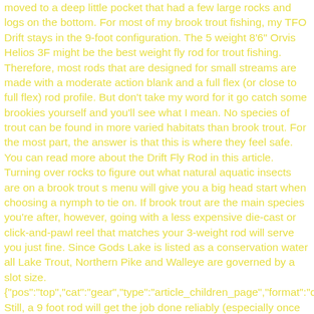moved to a deep little pocket that had a few large rocks and logs on the bottom. For most of my brook trout fishing, my TFO Drift stays in the 9-foot configuration. The 5 weight 8'6" Orvis Helios 3F might be the best weight fly rod for trout fishing. Therefore, most rods that are designed for small streams are made with a moderate action blank and a full flex (or close to full flex) rod profile. But don't take my word for it go catch some brookies yourself and you'll see what I mean. No species of trout can be found in more varied habitats than brook trout. For the most part, the answer is that this is where they feel safe. You can read more about the Drift Fly Rod in this article. Turning over rocks to figure out what natural aquatic insects are on a brook trout s menu will give you a big head start when choosing a nymph to tie on. If brook trout are the main species you're after, however, going with a less expensive die-cast or click-and-pawl reel that matches your 3-weight rod will serve you just fine. Since Gods Lake is listed as a conservation water all Lake Trout, Northern Pike and Walleye are governed by a slot size. {"pos":"top","cat":"gear","type":"article_children_page","format":"default"}. Still, a 9 foot rod will get the job done reliably (especially once you master the bow and arrow cast I share below) and can actually offer some advantages over shorter rods when trying to keep as much line off the water as possible. Fly fishing for brook trout is an addictive challenge that I simply can't get enough of. Brook Trout Heaven features fly fishing on the Nipigon River, Lake Nipigon, plus Lake Superior and it's tributaries